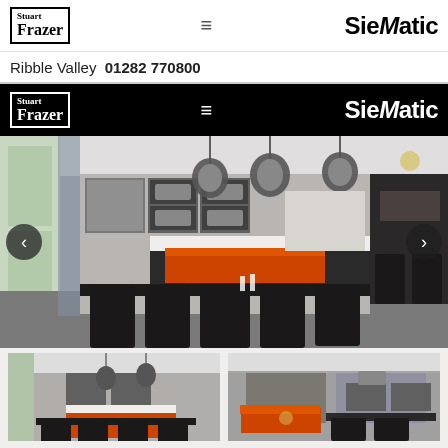Stuart Frazer | SieMatic | Ribble Valley 01282 770800
[Figure (photo): Stuart Frazer SieMatic logo on black navigation bar]
[Figure (photo): Large kitchen showroom photo: modern kitchen with dark cabinetry, orange seating bench, pendant lights, island unit, and bar stools]
[Figure (photo): Thumbnail of kitchen photo from wider angle]
[Figure (photo): Thumbnail of kitchen photo showing orange corner seating]